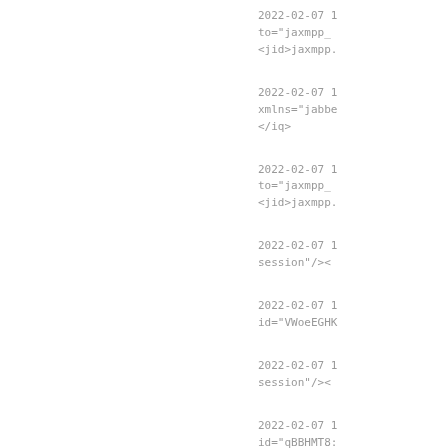2022-02-07 1
to="jaxmpp_
<jid>jaxmpp.

2022-02-07 1
xmlns="jabbe
</iq>

2022-02-07 1
to="jaxmpp_
<jid>jaxmpp.

2022-02-07 1
session"/><

2022-02-07 1
id="VWoeEGHK

2022-02-07 1
session"/><

2022-02-07 1
id="qBBHMT8:

2022-02-07 1
session"/><